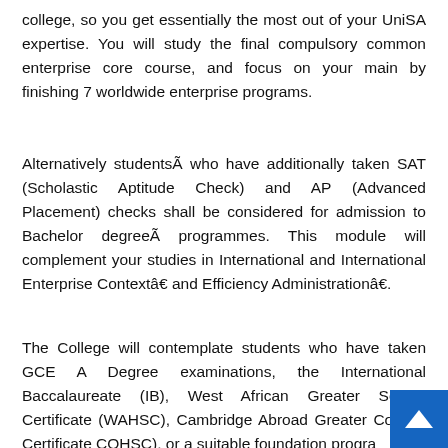college, so you get essentially the most out of your UniSA expertise. You will study the final compulsory common enterprise core course, and focus on your main by finishing 7 worldwide enterprise programs.
Alternatively studentsÃ who have additionally taken SAT (Scholastic Aptitude Check) and AP (Advanced Placement) checks shall be considered for admission to Bachelor degreeÃ programmes. This module will complement your studies in International and International Enterprise Contextâ€ and Efficiency Administrationâ€.
The College will contemplate students who have taken GCE A Degree examinations, the International Baccalaureate (IB), West African Greater School Certificate (WAHSC), Cambridge Abroad Greater College Certificate COHSC), or a suitable foundation progra